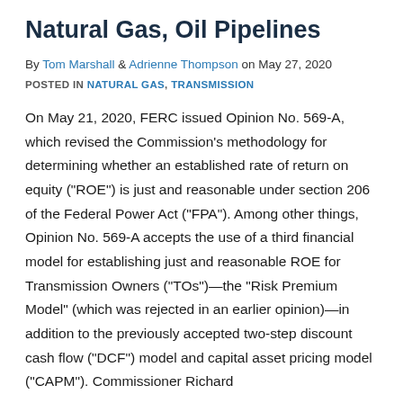Natural Gas, Oil Pipelines
By Tom Marshall & Adrienne Thompson on May 27, 2020
POSTED IN NATURAL GAS, TRANSMISSION
On May 21, 2020, FERC issued Opinion No. 569-A, which revised the Commission's methodology for determining whether an established rate of return on equity ("ROE") is just and reasonable under section 206 of the Federal Power Act ("FPA"). Among other things, Opinion No. 569-A accepts the use of a third financial model for establishing just and reasonable ROE for Transmission Owners ("TOs")—the "Risk Premium Model" (which was rejected in an earlier opinion)—in addition to the previously accepted two-step discount cash flow ("DCF") model and capital asset pricing model ("CAPM"). Commissioner Richard